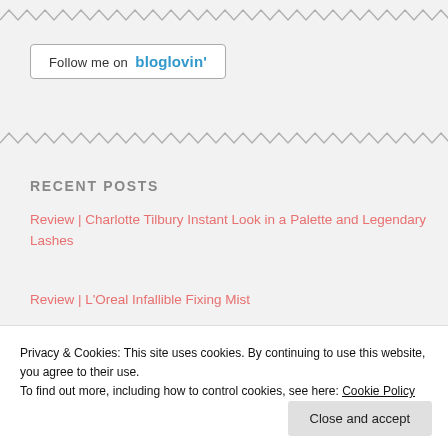[Figure (other): Zigzag decorative divider line at top of page]
[Figure (other): Bloglovin follow button widget with border, text 'Follow me on bloglovin']
[Figure (other): Zigzag decorative divider line in middle of page]
RECENT POSTS
Review | Charlotte Tilbury Instant Look in a Palette and Legendary Lashes
Review | L'Oreal Infallible Fixing Mist
Privacy & Cookies: This site uses cookies. By continuing to use this website, you agree to their use.
To find out more, including how to control cookies, see here: Cookie Policy
Close and accept